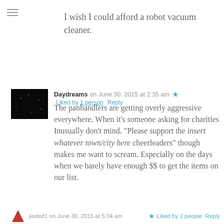I wish I could afford a robot vacuum cleaner.
Daydreams on June 30, 2015 at 2:35 am  Liked by 1 person  Reply
The panhandlers are getting overly aggressive everywhere. When it's someone asking for charities Inusually don't mind. "Please support the insert whatever town/city here cheerleaders" though makes me want to scream. Especially on the days when we barely have enough $$ to get the items on our list.
jiaded1 on June 30, 2015 at 5:34 am  Liked by 2 people  Reply